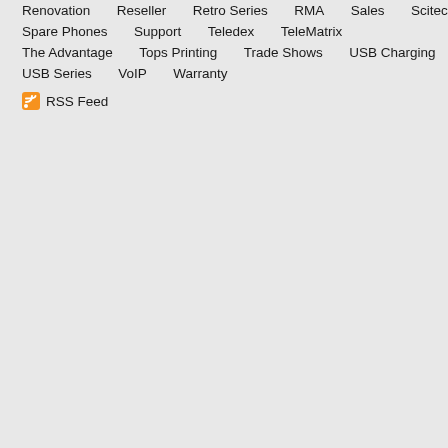Renovation
Reseller
Retro Series
RMA
Sales
Scitec
Spare Phones
Support
Teledex
TeleMatrix
The Advantage
Tops Printing
Trade Shows
USB Charging
USB Series
VoIP
Warranty
RSS Feed